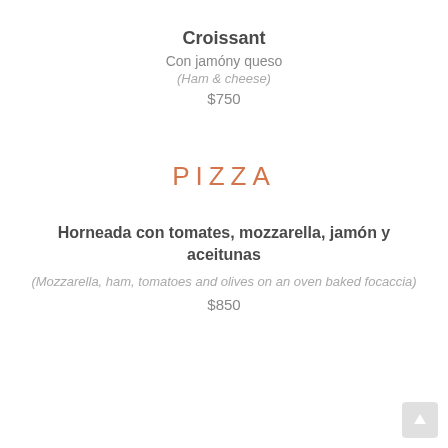Croissant
Con jamóny queso
(Ham & cheese)
$750
PIZZA
Horneada con tomates, mozzarella, jamón y aceitunas
(Mozzarella, ham, tomatoes and olives on an oven baked focaccia)
$850